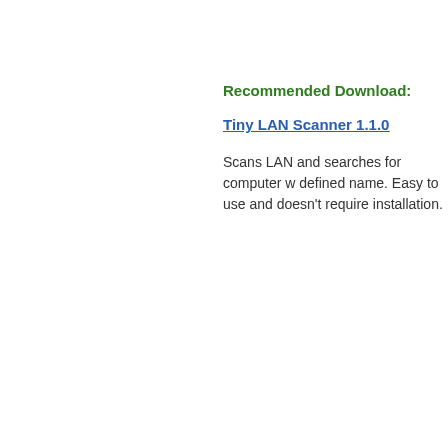Recommended Download:
Tiny LAN Scanner 1.1.0
Scans LAN and searches for computer w... defined name. Easy to use and doesn't require installation.